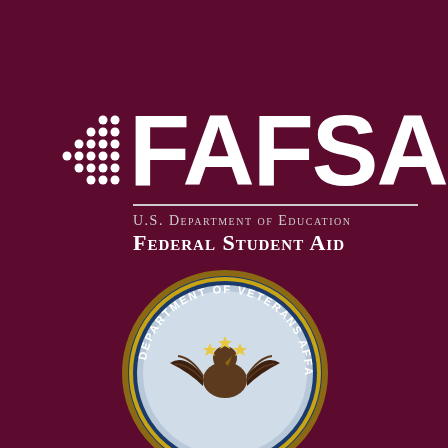[Figure (logo): FAFSA logo with dot grid pattern and text: U.S. Department of Education Federal Student Aid, on dark maroon background]
VISIT SITE
[Figure (logo): Department of Veterans Affairs circular seal, partially visible at bottom of page]